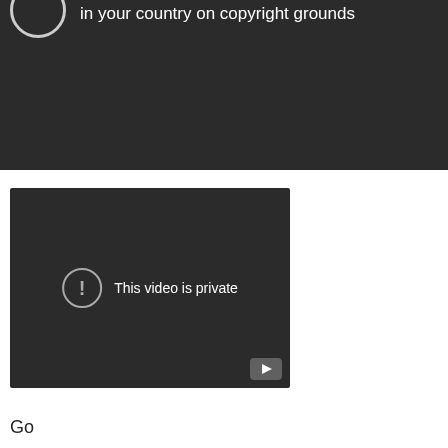[Figure (screenshot): Top portion of a YouTube video embed showing a dark background with white text reading 'in your country on copyright grounds' — the video is blocked due to copyright.]
[Figure (screenshot): YouTube video embed with dark background showing a circle with exclamation mark icon and white text 'This video is private'. A YouTube play button logo appears in the bottom right corner.]
Go